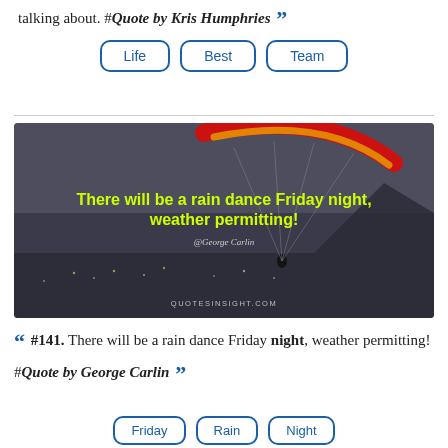talking about. #Quote by Kris Humphries
Life
Best
Team
[Figure (photo): Paraglider with red and yellow wing flying over a city, with overlaid yellow text: 'There will be a rain dance Friday night, weather permitting!' and attribution '@George Carlin', watermark 'QUOTESINSIGHT.COM']
#141. There will be a rain dance Friday night, weather permitting! #Quote by George Carlin
Friday
Rain
Night